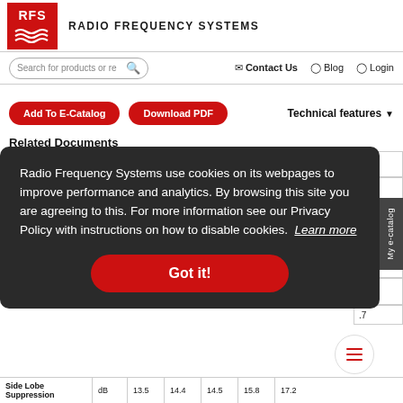[Figure (logo): RFS Radio Frequency Systems logo with red box and wave lines]
RADIO FREQUENCY SYSTEMS
[Figure (screenshot): Search bar with magnifying glass icon]
Contact Us   Blog   Login
[Figure (infographic): Add To E-Catalog and Download PDF red buttons with Technical features dropdown]
Related Documents
Radio Frequency Systems use cookies on its webpages to improve performance and analytics. By browsing this site you are agreeing to this. For more information see our Privacy Policy with instructions on how to disable cookies.  Learn more
[Figure (infographic): Got it! red button on cookie consent overlay]
|  | dB | 13.5 | 14.4 | 14.5 | 15.8 | 17.2 |
| --- | --- | --- | --- | --- | --- | --- |
| Side Lobe Suppression | dB | 13.5 | 14.4 | 14.5 | 15.8 | 17.2 |